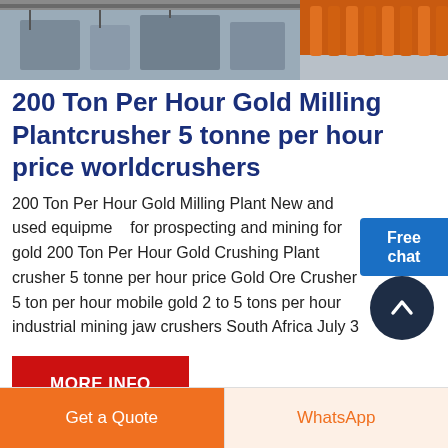[Figure (photo): Industrial milling/crushing machinery photographed from above, showing orange conveyor belts and steel equipment.]
200 Ton Per Hour Gold Milling Plantcrusher 5 tonne per hour price worldcrushers
200 Ton Per Hour Gold Milling Plant New and used equipment for prospecting and mining for gold 200 Ton Per Hour Gold Crushing Plant crusher 5 tonne per hour price Gold Ore Crusher 5 ton per hour mobile gold 2 to 5 tons per hour industrial mining jaw crushers South Africa July 3
MORE INFO
Free chat
Get a Quote
WhatsApp